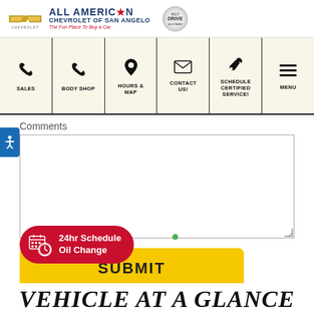[Figure (logo): All American Chevrolet of San Angelo dealership header with Chevrolet bowtie logo, dealer name, tagline 'The Fun Place To Buy a Car', and Ally Drive badge]
[Figure (screenshot): Navigation bar with icons and labels: SALES (phone icon), BODY SHOP (phone icon), HOURS & MAP (map pin icon), CONTACT US! (envelope icon), SCHEDULE CERTIFIED SERVICE! (wrench icon), MENU (hamburger icon)]
Comments
[Figure (screenshot): Large empty comment textarea with resize handle in bottom-right corner]
[Figure (screenshot): Yellow SUBMIT button]
[Figure (screenshot): Red oval badge with calendar/oil change icon and text '24hr Schedule Oil Change']
VEHICLE AT A GLANCE